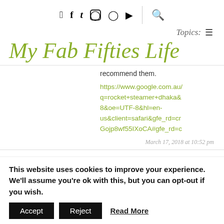Social icons: Facebook, Twitter, Instagram, Pinterest, YouTube, Search
Topics: ☰
My Fab Fifties Life
recommend them.
https://www.google.com.au/q=rocket+steamer+dhaka&8&oe=UTF-8&hl=en-us&client=safari&gfe_rd=crGojp8wf55IXoCA#gfe_rd=c
March 17, 2018 at 10:52 pm
This website uses cookies to improve your experience. We'll assume you're ok with this, but you can opt-out if you wish.
Accept | Reject | Read More